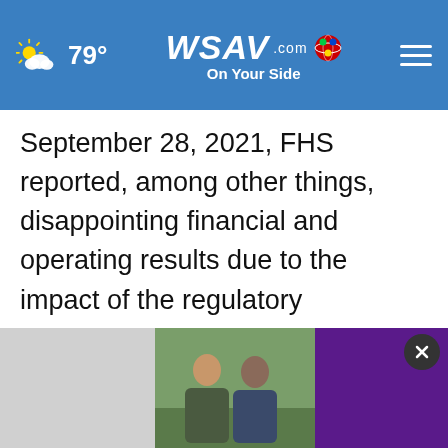WSAV.com On Your Side — 79°
September 28, 2021, FHS reported, among other things, disappointing financial and operating results due to the impact of the regulatory crackdown on China's for-profit education sector; the resignation of the Company's Chief Financial Officer; the dismissal of the Company's auditor, KPMG Huazhen LLP; the receipt of a letter from the New York Stock Exchange ("NYSE") stating that the Company was in non-compliance with the NYSE's listing requi...
[Figure (photo): Advertisement overlay at the bottom of the page showing two men outdoors and a purple banner, with a close (x) button]